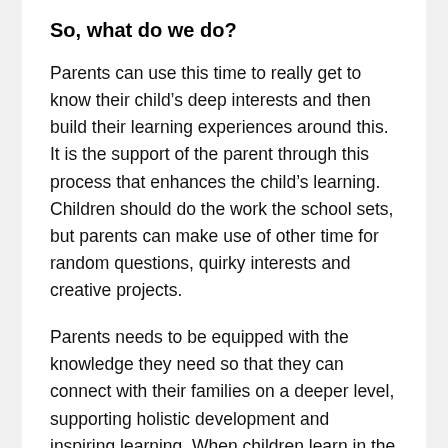So, what do we do?
Parents can use this time to really get to know their child’s deep interests and then build their learning experiences around this. It is the support of the parent through this process that enhances the child’s learning. Children should do the work the school sets, but parents can make use of other time for random questions, quirky interests and creative projects.
Parents needs to be equipped with the knowledge they need so that they can connect with their families on a deeper level, supporting holistic development and inspiring learning. When children learn in the